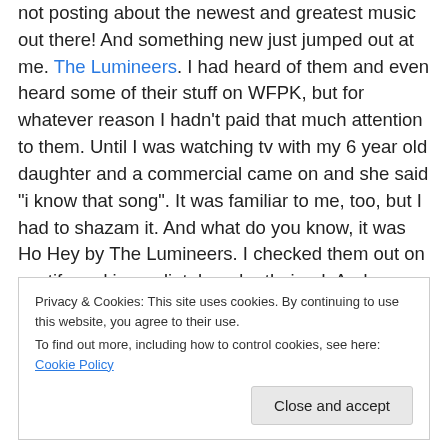not posting about the newest and greatest music out there! And something new just jumped out at me. The Lumineers. I had heard of them and even heard some of their stuff on WFPK, but for whatever reason I hadn't paid that much attention to them. Until I was watching tv with my 6 year old daughter and a commercial came on and she said "i know that song". It was familiar to me, too, but I had to shazam it. And what do you know, it was Ho Hey by The Lumineers. I checked them out on spotify and immediately order their cd. And now, because of my neurosis that we have already established, my kids and I
Privacy & Cookies: This site uses cookies. By continuing to use this website, you agree to their use. To find out more, including how to control cookies, see here: Cookie Policy